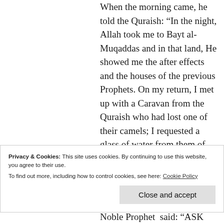When the morning came, he told the Quraish: “In the night, Allah took me to Bayt al-Muqaddas and in that land, He showed me the after effects and the houses of the previous Prophets. On my return, I met up with a Caravan from the Quraish who had lost one of their camels; I requested a glass of water from them of which I
Privacy & Cookies: This site uses cookies. By continuing to use this website, you agree to their use.
To find out more, including how to control cookies, see here: Cookie Policy
Noble Prophet said: “ASK